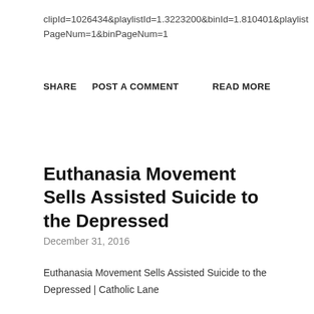clipId=1026434&playlistId=1.3223200&binId=1.810401&playlistPageNum=1&binPageNum=1
SHARE   POST A COMMENT   READ MORE
Euthanasia Movement Sells Assisted Suicide to the Depressed
December 31, 2016
Euthanasia Movement Sells Assisted Suicide to the Depressed | Catholic Lane